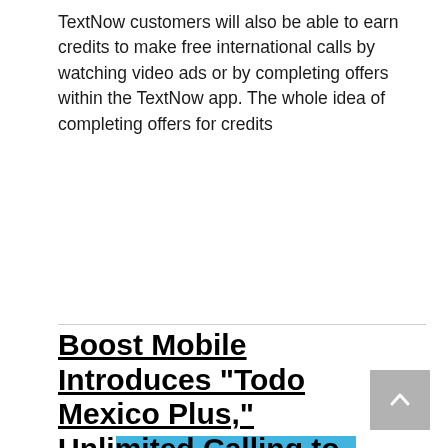TextNow customers will also be able to earn credits to make free international calls by watching video ads or by completing offers within the TextNow app. The whole idea of completing offers for credits
Read More
Boost Mobile Introduces “Todo Mexico Plus,” Unlimited Calling to